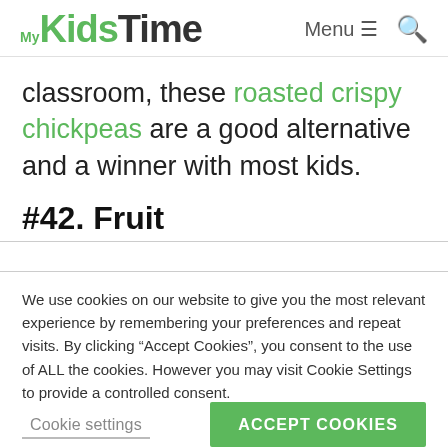MyKidsTime | Menu ☰ 🔍
classroom, these roasted crispy chickpeas are a good alternative and a winner with most kids.
#42. Fruit
We use cookies on our website to give you the most relevant experience by remembering your preferences and repeat visits. By clicking "Accept Cookies", you consent to the use of ALL the cookies. However you may visit Cookie Settings to provide a controlled consent.
Cookie settings | ACCEPT COOKIES